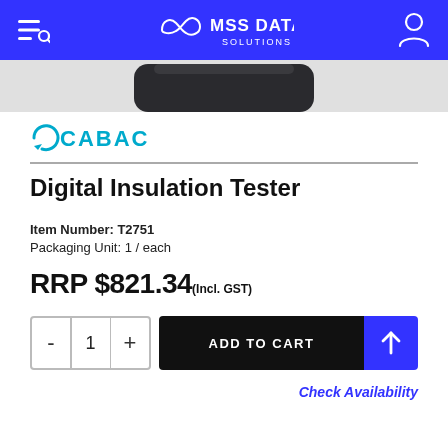MSS DATA SOLUTIONS
[Figure (photo): Partial product photo (bottom of digital insulation tester device) visible at top of page]
[Figure (logo): CABAC logo in cyan/teal color]
Digital Insulation Tester
Item Number: T2751
Packaging Unit: 1 / each
RRP $821.34(Incl. GST)
ADD TO CART
Check Availability